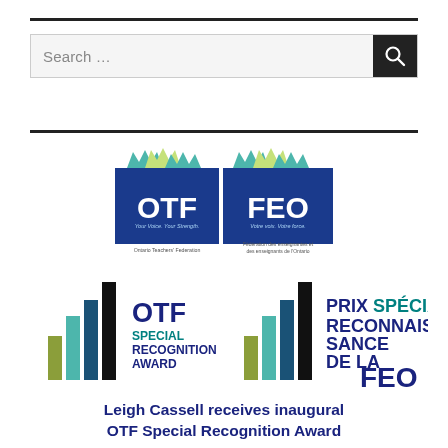[Figure (screenshot): Search bar with magnifying glass icon on dark button]
[Figure (logo): OTF FEO Ontario Teachers' Federation / Fédération des enseignantes et des enseignants de l'Ontario logo — two blue squares with colourful leaf/flame graphics on top, white OTF and FEO text]
[Figure (logo): OTF Special Recognition Award / Prix Spécial de Reconnaissance de la FEO bilingual award logo with stylised bar-chart graphic in teal, green, and black]
Leigh Cassell receives inaugural OTF Special Recognition Award